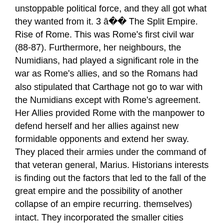unstoppable political force, and they all got what they wanted from it. 3 â The Split Empire. Rise of Rome. This was Rome's first civil war (88-87). Furthermore, her neighbours, the Numidians, had played a significant role in the war as Rome's allies, and so the Romans had also stipulated that Carthage not go to war with the Numidians except with Rome's agreement. Her Allies provided Rome with the manpower to defend herself and her allies against new formidable opponents and extend her sway. They placed their armies under the command of that veteran general, Marius. Historians interests is finding out the factors that led to the fall of the great empire and the possibility of another collapse of an empire recurring. themselves) intact. They incorporated the smaller cities nearest to Rome into their state, giving their inhabitants full Roman citizenship and giving their leading families the opportunity to become Roman equestrians and senators. This finally came in 31 BC, when the fleets of the two opposing sides met at Actium, off the Greek coast. Other leading cities in Latium, such as Praeneste and Tibur, used the Gallic disaster to gain leadership of the Latin cities for